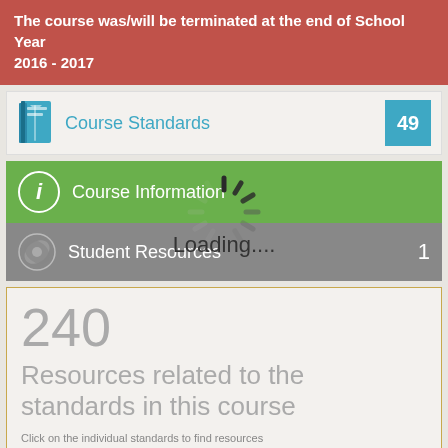The course was/will be terminated at the end of School Year 2016 - 2017
Course Standards
Course Information
Student Resources
Loading....
240
Resources related to the standards in this course
Click on the individual standards to find resources